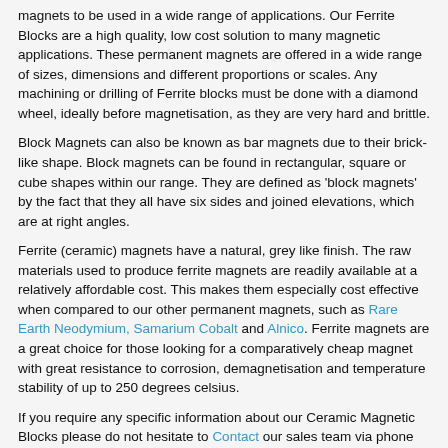magnets to be used in a wide range of applications. Our Ferrite Blocks are a high quality, low cost solution to many magnetic applications. These permanent magnets are offered in a wide range of sizes, dimensions and different proportions or scales. Any machining or drilling of Ferrite blocks must be done with a diamond wheel, ideally before magnetisation, as they are very hard and brittle.
Block Magnets can also be known as bar magnets due to their brick-like shape. Block magnets can be found in rectangular, square or cube shapes within our range. They are defined as 'block magnets' by the fact that they all have six sides and joined elevations, which are at right angles.
Ferrite (ceramic) magnets have a natural, grey like finish. The raw materials used to produce ferrite magnets are readily available at a relatively affordable cost. This makes them especially cost effective when compared to our other permanent magnets, such as Rare Earth Neodymium, Samarium Cobalt and Alnico. Ferrite magnets are a great choice for those looking for a comparatively cheap magnet with great resistance to corrosion, demagnetisation and temperature stability of up to 250 degrees celsius.
If you require any specific information about our Ceramic Magnetic Blocks please do not hesitate to Contact our sales team via phone call or email.
Ceramic Ferrite Block Magnets